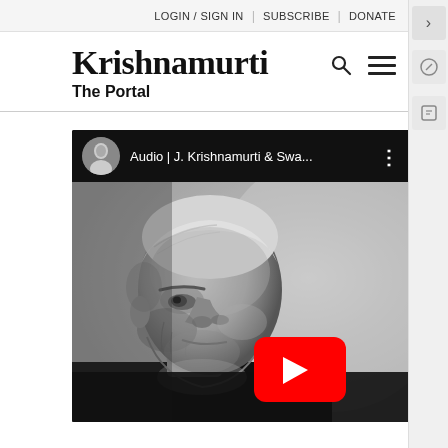LOGIN / SIGN IN | SUBSCRIBE | DONATE
Krishnamurti
The Portal
[Figure (screenshot): YouTube embedded video player showing J. Krishnamurti audio content. Top bar with circular avatar thumbnail, title 'Audio | J. Krishnamurti & Swa...' and three-dot menu. Main thumbnail is a black and white profile photograph of an elderly man (Krishnamurti) with a YouTube play button overlay in the center.]